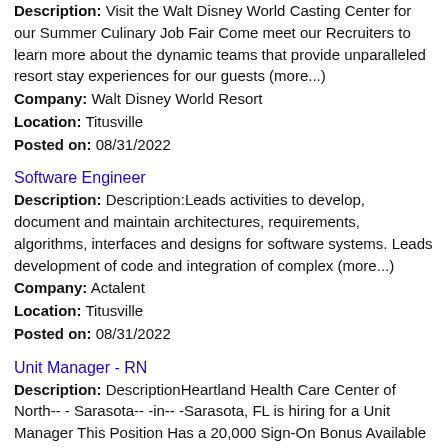Description: Visit the Walt Disney World Casting Center for our Summer Culinary Job Fair Come meet our Recruiters to learn more about the dynamic teams that provide unparalleled resort stay experiences for our guests (more...)
Company: Walt Disney World Resort
Location: Titusville
Posted on: 08/31/2022
Software Engineer
Description: Description:Leads activities to develop, document and maintain architectures, requirements, algorithms, interfaces and designs for software systems. Leads development of code and integration of complex (more...)
Company: Actalent
Location: Titusville
Posted on: 08/31/2022
Unit Manager - RN
Description: DescriptionHeartland Health Care Center of North-- - Sarasota-- -in-- -Sarasota, FL is hiring for a Unit Manager This Position Has a 20,000 Sign-On Bonus Available HCR ManorCare provides a range of services, (more...)
Company: ProMedica Senior Care
Location: Sarasota